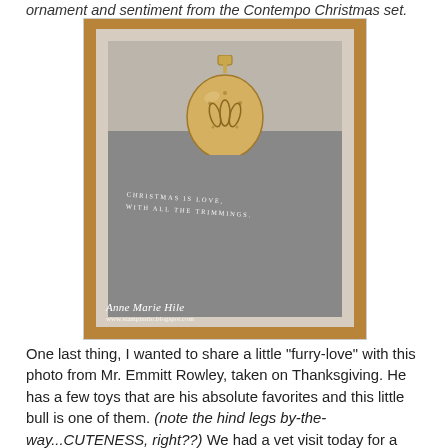ornament and sentiment from the Contempo Christmas set.
[Figure (photo): A handmade Christmas card with a gold foil ornament embellishment on a gray background. The card reads 'CHRISTMAS IS LOVE, WITH ALL THE TRIMMINGS.' Watermark reads 'Anne Marie Hile'.]
One last thing, I wanted to share a little "furry-love" with this photo from Mr. Emmitt Rowley, taken on Thanksgiving. He has a few toys that are his absolute favorites and this little bull is one of them. (note the hind legs by-the-way...CUTENESS, right??) We had a vet visit today for a check-up and vaccinations, because we have finally come to